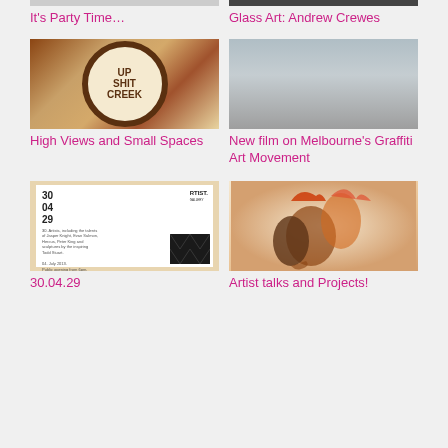[Figure (photo): Partially visible image at top left — party scene]
It's Party Time…
[Figure (photo): Partially visible image at top right — glass art by Andrew Crewes]
Glass Art: Andrew Crewes
[Figure (photo): Street art photo showing circular piece with text 'UP SHIT CREEK' made from collaged letters/objects, on textured background]
High Views and Small Spaces
[Figure (photo): Gray/beige gradient image, muted tones — Melbourne graffiti art movement film still]
New film on Melbourne's Graffiti Art Movement
[Figure (photo): Gallery invitation card for RTIST. GALLERY showing numbers 30 04 29, event details, on wooden background with diamond pattern]
30.04.29
[Figure (photo): Colorful illustration/painting of roosters with dripping paint effect, warm orange and red tones]
Artist talks and Projects!